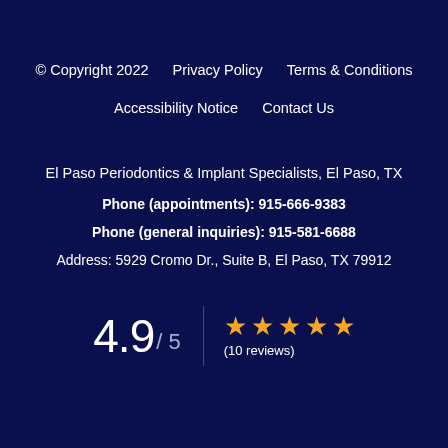© Copyright 2022    Privacy Policy    Terms & Conditions    Accessibility Notice    Contact Us
El Paso Periodontics & Implant Specialists, El Paso, TX
Phone (appointments): 915-666-9383
Phone (general inquiries): 915-581-6688
Address: 5929 Cromo Dr., Suite B, El Paso, TX 79912
4.9 / 5  ★★★★★  (10 reviews)